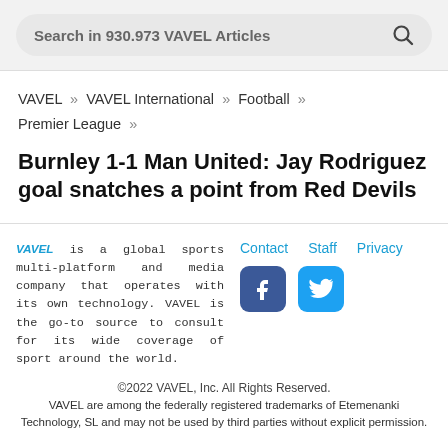Search in 930.973 VAVEL Articles
VAVEL » VAVEL International » Football » Premier League »
Burnley 1-1 Man United: Jay Rodriguez goal snatches a point from Red Devils
VAVEL is a global sports multi-platform and media company that operates with its own technology. VAVEL is the go-to source to consult for its wide coverage of sport around the world.
Contact  Staff  Privacy
©2022 VAVEL, Inc. All Rights Reserved.
VAVEL are among the federally registered trademarks of Etemenanki Technology, SL and may not be used by third parties without explicit permission.